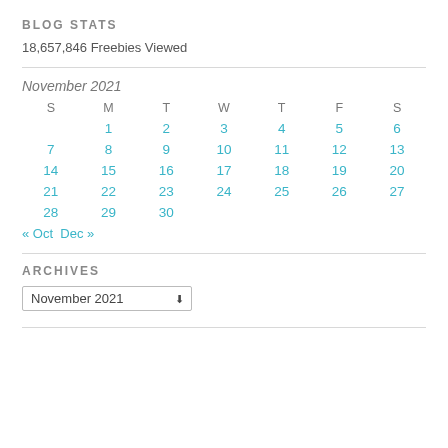BLOG STATS
18,657,846 Freebies Viewed
| S | M | T | W | T | F | S |
| --- | --- | --- | --- | --- | --- | --- |
|  | 1 | 2 | 3 | 4 | 5 | 6 |
| 7 | 8 | 9 | 10 | 11 | 12 | 13 |
| 14 | 15 | 16 | 17 | 18 | 19 | 20 |
| 21 | 22 | 23 | 24 | 25 | 26 | 27 |
| 28 | 29 | 30 |  |  |  |  |
« Oct  Dec »
ARCHIVES
November 2021